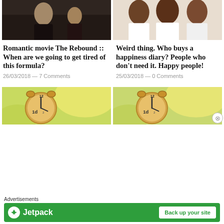[Figure (photo): Movie still from The Rebound showing a man and woman in bed]
[Figure (photo): Three smiling women posing together]
Romantic movie The Rebound :: When are we going to get tired of this formula?
26/03/2018 — 7 Comments
Weird thing. Who buys a happiness diary? People who don't need it. Happy people!
25/03/2018 — 0 Comments
[Figure (photo): Alarm clock with sunlit background (left)]
[Figure (photo): Alarm clock with sunlit background (right)]
Advertisements
[Figure (screenshot): Jetpack advertisement banner — Back up your site]